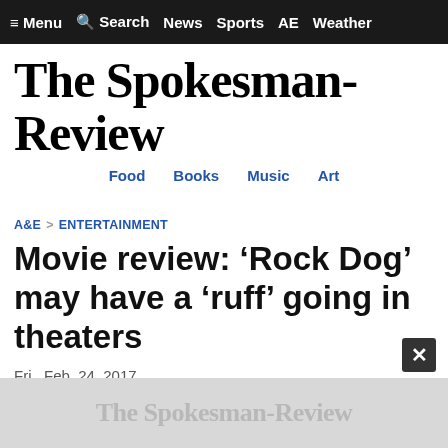≡ Menu   🔍 Search   News   Sports   AE   Weather
The Spokesman-Review
Food   Books   Music   Art
A&E > ENTERTAINMENT
Movie review: 'Rock Dog' may have a 'ruff' going in theaters
Fri., Feb. 24, 2017
[Figure (logo): The Spokesman-Review watermark logo in grey on ad bar at bottom]